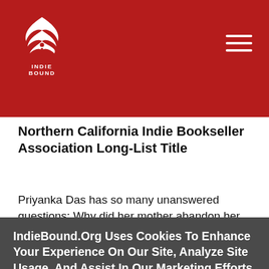[Figure (logo): IndieBound logo — white stylized bird/book graphic on red background with 'INDIE BOUND' text below]
Northern California Indie Bookseller Association Long-List Title
Priyanka Das has so many unanswered questions: Why did her mother abandon her home in India years ago? What was it like there? And most importantly,
IndieBound.Org Uses Cookies To Enhance Your Experience On Our Site, Analyze Site Usage, And Assist In Our Marketing Efforts. By Clicking Accept, You Agree To The Storing Of Cookies On Your Device. View Our Cookie Policy.
Give me more info
Accept all Cookies